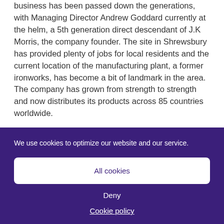business has been passed down the generations, with Managing Director Andrew Goddard currently at the helm, a 5th generation direct descendant of J.K Morris, the company founder. The site in Shrewsbury has provided plenty of jobs for local residents and the current location of the manufacturing plant, a former ironworks, has become a bit of landmark in the area. The company has grown from strength to strength and now distributes its products across 85 countries worldwide.
Background
We use cookies to optimize our website and our service.
All cookies
Deny
Cookie policy